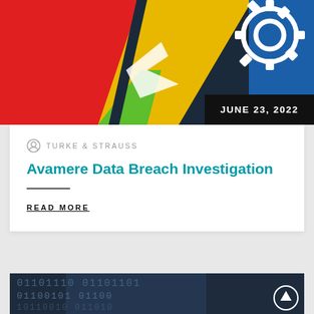[Figure (photo): Colorful geometric tiles with red, yellow, green, blue panels and a white gear/settings icon on blue background]
JUNE 23, 2022
TURKE & STRAUSS
Avamere Data Breach Investigation
READ MORE
[Figure (photo): Dark blue background with binary code (01101101 01100101 etc.) and a blurred hand, with a circular up-arrow button overlay]